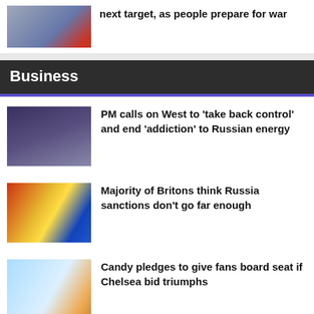[Figure (photo): Thumbnail image of people in a conflict/war scene with EU flags]
next target, as people prepare for war
Business
[Figure (photo): Thumbnail of PM Boris Johnson in a suit]
PM calls on West to 'take back control' and end 'addiction' to Russian energy
[Figure (photo): Thumbnail of Putin speaking at a podium with colorful flags]
Majority of Britons think Russia sanctions don't go far enough
[Figure (photo): Thumbnail of Candy with Chelsea branding]
Candy pledges to give fans board seat if Chelsea bid triumphs
[Figure (photo): Thumbnail of Liverpool Broughton]
Liverpool 'saviour' Broughton eyes key role in